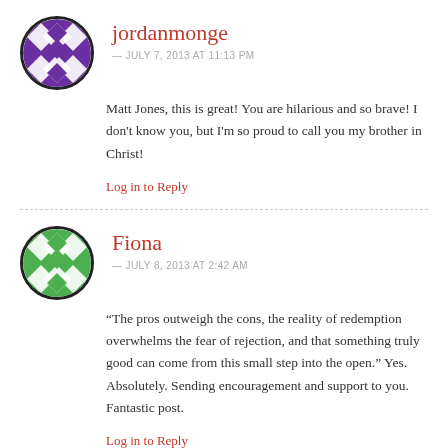jordanmonge
— JULY 7, 2013 AT 11:13 PM
Matt Jones, this is great! You are hilarious and so brave! I don't know you, but I'm so proud to call you my brother in Christ!
Log in to Reply
Fiona
— JULY 8, 2013 AT 2:42 AM
“The pros outweigh the cons, the reality of redemption overwhelms the fear of rejection, and that something truly good can come from this small step into the open.” Yes. Absolutely. Sending encouragement and support to you. Fantastic post.
Log in to Reply